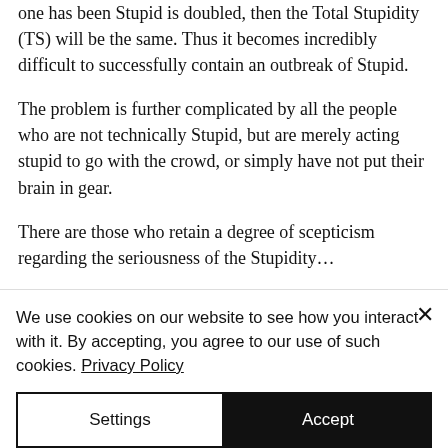one has been Stupid is doubled, then the Total Stupidity (TS) will be the same. Thus it becomes incredibly difficult to successfully contain an outbreak of Stupid.
The problem is further complicated by all the people who are not technically Stupid, but are merely acting stupid to go with the crowd, or simply have not put their brain in gear.
There are those who retain a degree of scepticism regarding the seriousness of the Stupidity…
We use cookies on our website to see how you interact with it. By accepting, you agree to our use of such cookies. Privacy Policy